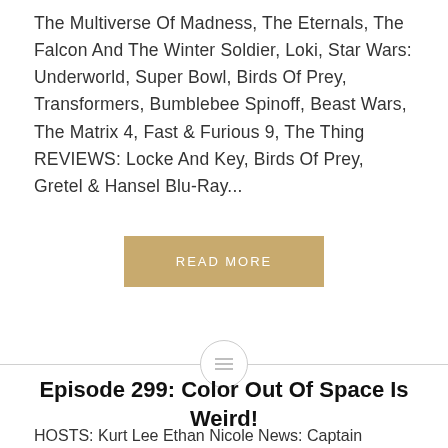The Multiverse Of Madness, The Eternals, The Falcon And The Winter Soldier, Loki, Star Wars: Underworld, Super Bowl, Birds Of Prey, Transformers, Bumblebee Spinoff, Beast Wars, The Matrix 4, Fast & Furious 9, The Thing REVIEWS: Locke And Key, Birds Of Prey, Gretel & Hansel Blu-Ray...
READ MORE
Episode 299: Color Out Of Space Is Weird!
HOSTS: Kurt Lee Ethan Nicole News: Captain Marvel 2,